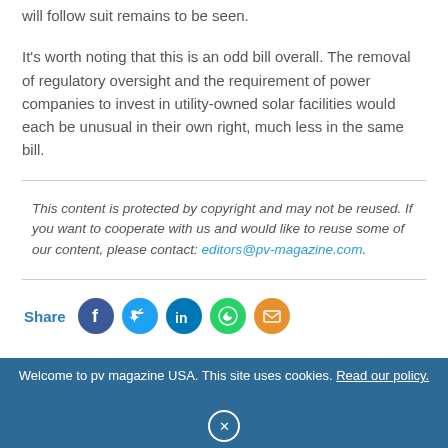will follow suit remains to be seen.
It's worth noting that this is an odd bill overall. The removal of regulatory oversight and the requirement of power companies to invest in utility-owned solar facilities would each be unusual in their own right, much less in the same bill.
This content is protected by copyright and may not be reused. If you want to cooperate with us and would like to reuse some of our content, please contact: editors@pv-magazine.com.
Share
Welcome to pv magazine USA. This site uses cookies. Read our policy.